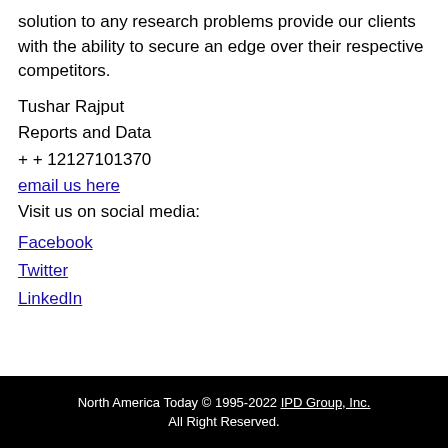solution to any research problems provide our clients with the ability to secure an edge over their respective competitors.
Tushar Rajput
Reports and Data
+ + 12127101370
email us here
Visit us on social media:
Facebook
Twitter
LinkedIn
North America Today © 1995-2022 IPD Group, Inc.
All Right Reserved.